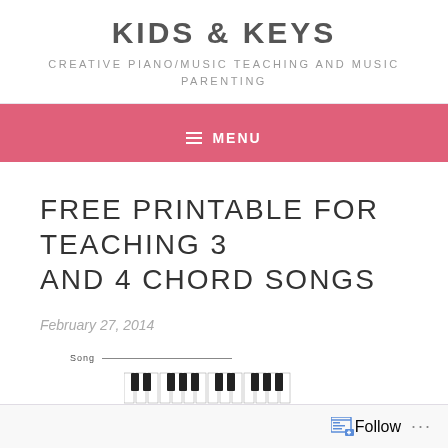KIDS & KEYS
CREATIVE PIANO/MUSIC TEACHING AND MUSIC PARENTING
MENU
FREE PRINTABLE FOR TEACHING 3 AND 4 CHORD SONGS
February 27, 2014
[Figure (illustration): Partial view of a piano chord teaching printable worksheet showing 'Song' label with a line and piano keys diagram at the bottom]
Follow